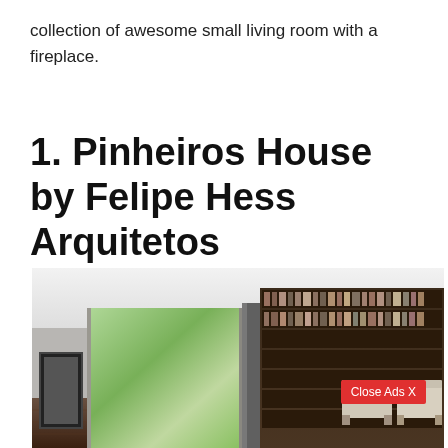collection of awesome small living room with a fireplace.
1. Pinheiros House by Felipe Hess Arquitetos
[Figure (photo): Interior photo of a modern living room with large floor-to-ceiling windows overlooking a garden, a wall of bookshelves on the right, dark hardwood floors, a large framed artwork on the left wall, and two light-colored armchairs. An advertisement overlay shows a red 'Close Ads X' button.]